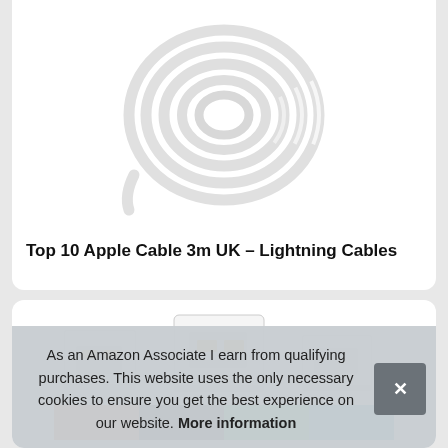[Figure (photo): White coiled Lightning cable curled into a circular shape on a white background]
Top 10 Apple Cable 3m UK – Lightning Cables
[Figure (photo): White USB plugs/connectors arranged in a row, partially visible, with colorful cable heads at the bottom]
As an Amazon Associate I earn from qualifying purchases. This website uses the only necessary cookies to ensure you get the best experience on our website. More information